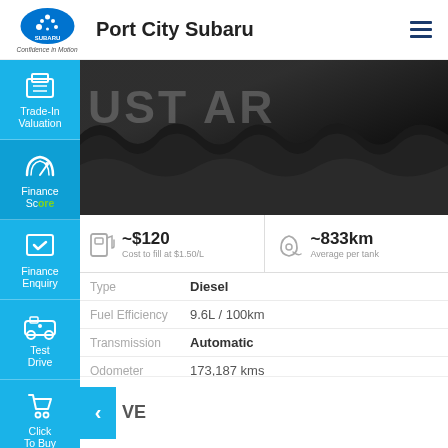[Figure (logo): Subaru logo with 'Confidence in Motion' tagline]
Port City Subaru
[Figure (screenshot): Dark hero image of a car covered with black drape with partially visible 'JUST AR' text overlay]
~$120 Cost to fill at $1.50/L
~833km Average per tank
| Attribute | Value |
| --- | --- |
| Type | Diesel |
| Fuel Efficiency | 9.6L / 100km |
| Transmission | Automatic |
| Odometer | 173,187 kms |
VE
Trade-In Valuation
Finance Score
Finance Enquiry
Test Drive
Click To Buy